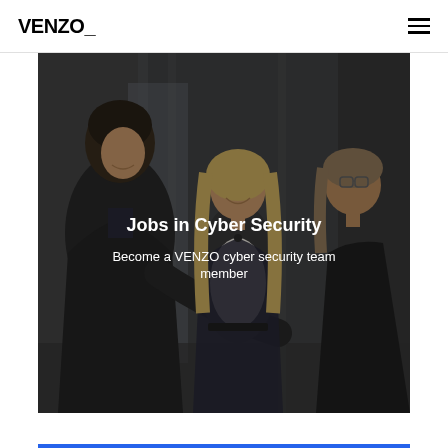VENZO_
[Figure (photo): Dark-toned photo of three people in a modern office setting appearing to greet each other. A man with dark curly hair on the left, a smiling blonde woman in the center, and a person with glasses on the right. Text overlay reads 'Jobs in Cyber Security' and 'Become a VENZO cyber security team member'.]
Jobs in Cyber Security
Become a VENZO cyber security team member